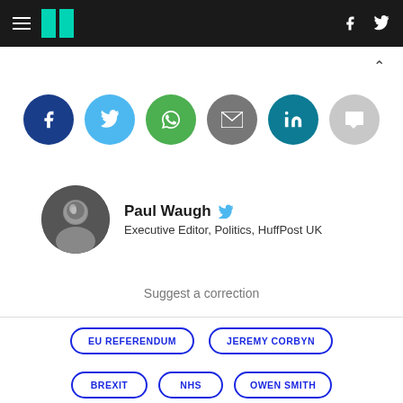HuffPost UK — hamburger menu, logo, facebook, twitter icons
[Figure (infographic): Row of 6 social sharing icons: Facebook (dark blue), Twitter (light blue), WhatsApp (green), Email (grey), LinkedIn (teal), Comments (light grey)]
[Figure (photo): Circular headshot photo of Paul Waugh in black and white]
Paul Waugh  Executive Editor, Politics, HuffPost UK
Suggest a correction
EU REFERENDUM
JEREMY CORBYN
BREXIT
NHS
OWEN SMITH